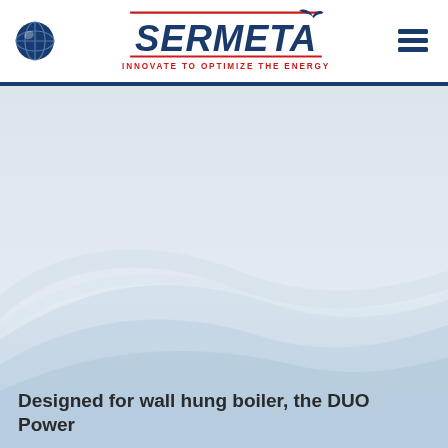SERMETA — INNOVATE TO OPTIMIZE THE ENERGY
[Figure (illustration): Sermeta company website header page with globe icon on left, Sermeta logo (dark blue italic letters with red underline and tagline INNOVATE TO OPTIMIZE THE ENERGY) in center, hamburger menu icon on right, and a large light blue/grey hero section with decorative wave curves and partial product text at bottom]
Designed for wall hung boiler, the DUO Power